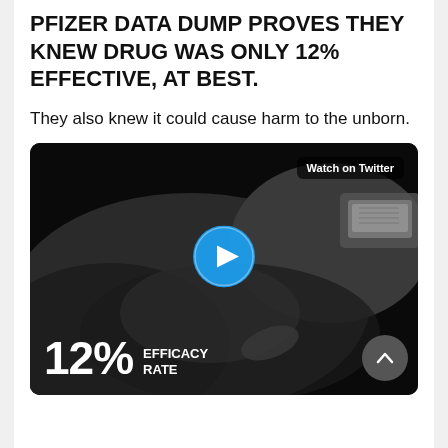PFIZER DATA DUMP PROVES THEY KNEW DRUG WAS ONLY 12% EFFECTIVE, AT BEST.
They also knew it could cause harm to the unborn.
[Figure (screenshot): Black and white video thumbnail showing a close-up of hands with a device, a blue play button in the center, text 'Watch on Twitter' in upper right, and '12% EFFICACY RATE' text in the lower left. A grey upward chevron scroll button is in the lower right.]